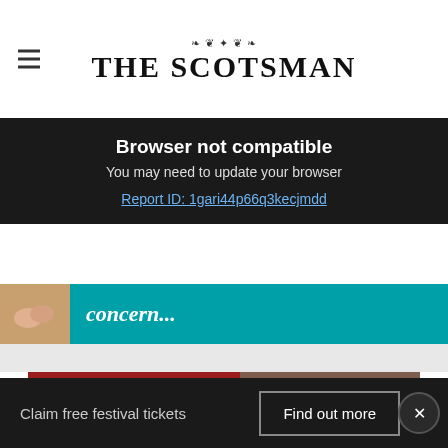THE SCOTSMAN
Browser not compatible
You may need to update your browser
Report ID: 1gari44p66q3kecjmdd
[Figure (photo): Concern article teaser with thumbnail and teal background showing 'concern...']
[Figure (photo): STOP the spread sign with person in background]
Claim free festival tickets
Find out more